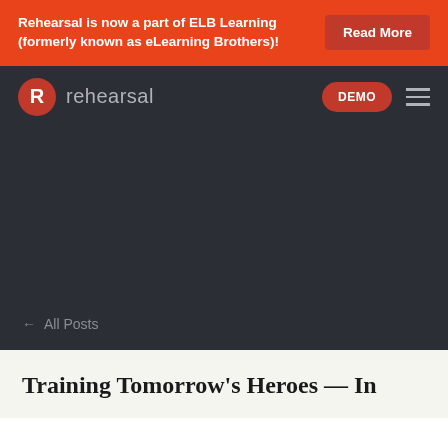Rehearsal is now a part of ELB Learning (formerly known as eLearning Brothers)!
[Figure (logo): Rehearsal logo with red circle containing white R and text 'rehearsal' in grey]
← All Posts
Training Tomorrow's Heroes — In